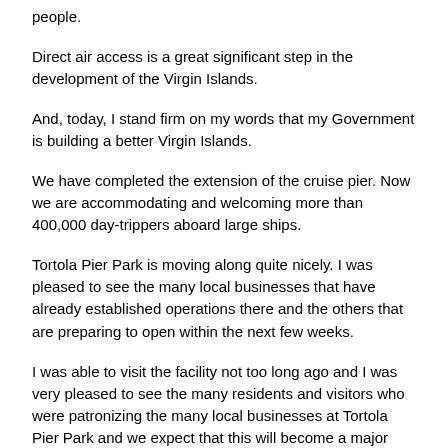people.
Direct air access is a great significant step in the development of the Virgin Islands.
And, today, I stand firm on my words that my Government is building a better Virgin Islands.
We have completed the extension of the cruise pier. Now we are accommodating and welcoming more than 400,000 day-trippers aboard large ships.
Tortola Pier Park is moving along quite nicely. I was pleased to see the many local businesses that have already established operations there and the others that are preparing to open within the next few weeks.
I was able to visit the facility not too long ago and I was very pleased to see the many residents and visitors who were patronizing the many local businesses at Tortola Pier Park and we expect that this will become a major commercial centre in the British Virgin Islands.
As can be expected, with any project of this magnitude, we